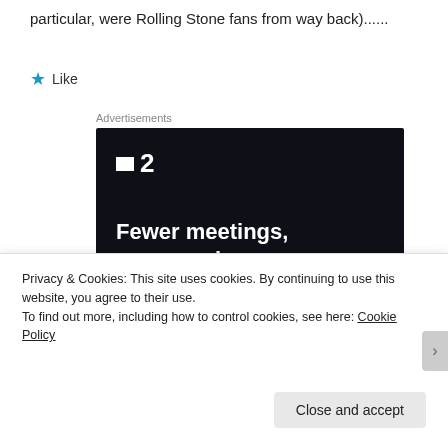particular, were Rolling Stone fans from way back)......
★ Like
Advertisements
[Figure (other): Advertisement for a project management tool showing logo '■2', headline 'Fewer meetings, more work.' and a 'Get started for free' button on dark background.]
Privacy & Cookies: This site uses cookies. By continuing to use this website, you agree to their use.
To find out more, including how to control cookies, see here: Cookie Policy
Close and accept